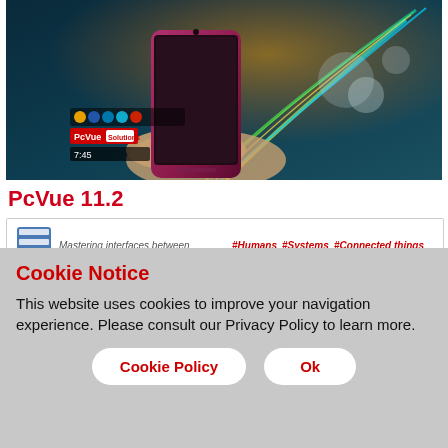[Figure (screenshot): Hero image of a hand holding a smartphone with colorful digital light streaks emanating from it. Shows social media icons and a PcVue Solutions logo with timestamp 7:45.]
PcVue 11.2
[Figure (screenshot): Video card thumbnail showing a film icon and tagline: Mastering interfaces between #Humans #Systems #Connected things. Below is a gray bar with the word Reporting in bold.]
Cookie Notice
This website uses cookies to improve your navigation experience. Please consult our Privacy Policy to learn more.
Cookie Policy
Ok